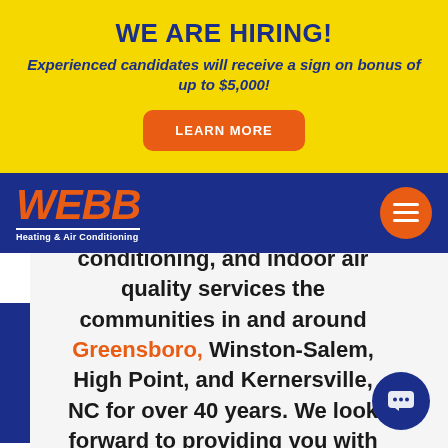WE ARE HIRING!
Experienced candidates will receive a sign on bonus of up to $5,000!
LEARN MORE
[Figure (logo): Webb Heating & Air Conditioning logo with orange bold italic text on blue nav bar]
We've provided heating, air conditioning, and indoor air quality services the communities in and around Greensboro, Winston-Salem, High Point, and Kernersville, NC for over 40 years. We look forward to providing you with five-star service!